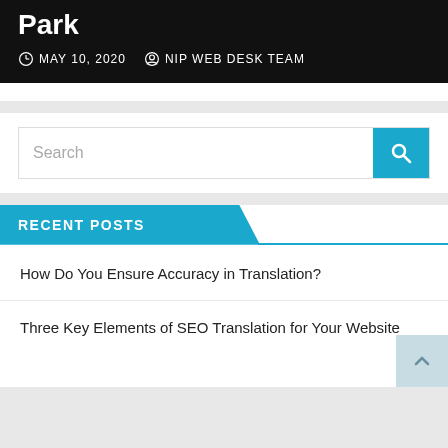Park
MAY 10, 2020   NIP WEB DESK TEAM
Search
RECENT POSTS
How Do You Ensure Accuracy in Translation?
Three Key Elements of SEO Translation for Your Website